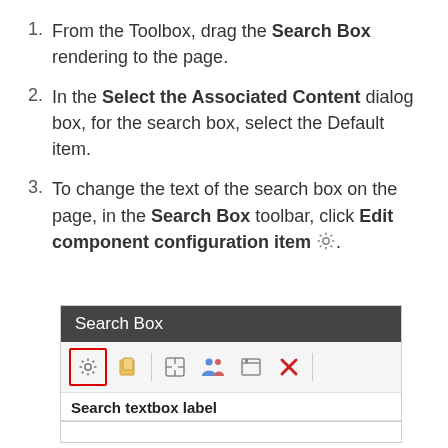From the Toolbox, drag the Search Box rendering to the page.
In the Select the Associated Content dialog box, for the search box, select the Default item.
To change the text of the search box on the page, in the Search Box toolbar, click Edit component configuration item [gear icon].
[Figure (screenshot): Screenshot of a Search Box component UI showing a dark title bar labeled 'Search Box', a toolbar with a gear icon (highlighted with red border), a bracket/unlock icon, a separator, a target icon, a people icon, a window icon, a red X icon, and another separator. Below the toolbar is a row labeled 'Search textbox label' and an input field area.]